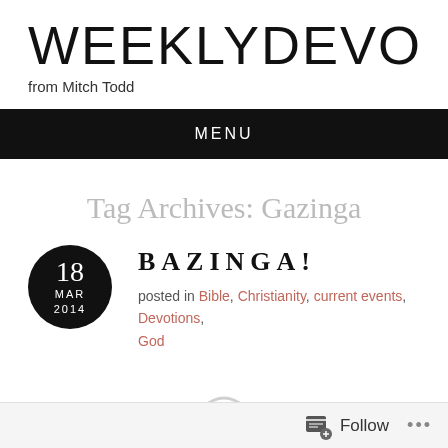WEEKLYDEVOTIO
from Mitch Todd
MENU
Tag Archives: Gazinga
18 MAR 2014
BAZINGA!
posted in Bible, Christianity, current events, Devotions, God
Follow ...